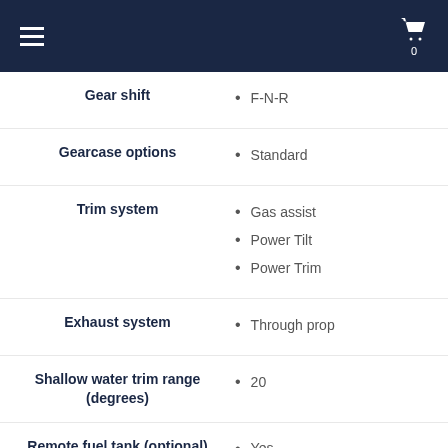Navigation header with menu and cart
Gear shift
F-N-R
Gearcase options
Standard
Trim system
Gas assist
Power Tilt
Power Trim
Exhaust system
Through prop
Shallow water trim range (degrees)
20
Remote fuel tank (optional)
Yes